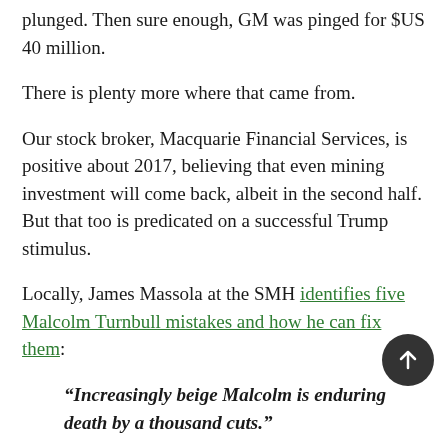plunged. Then sure enough, GM was pinged for $US 40 million.
There is plenty more where that came from.
Our stock broker, Macquarie Financial Services, is positive about 2017, believing that even mining investment will come back, albeit in the second half. But that too is predicated on a successful Trump stimulus.
Locally, James Massola at the SMH identifies five Malcolm Turnbull mistakes and how he can fix them:
“Increasingly beige Malcolm is enduring death by a thousand cuts.”
In brief, he should stand up to the right, present some big ideas that don’t involve saying “agile” and “innovative” all the time, strike a deal over cutting the corporate tax rate for small companies and move on, stop underestimating Bill Shorten,